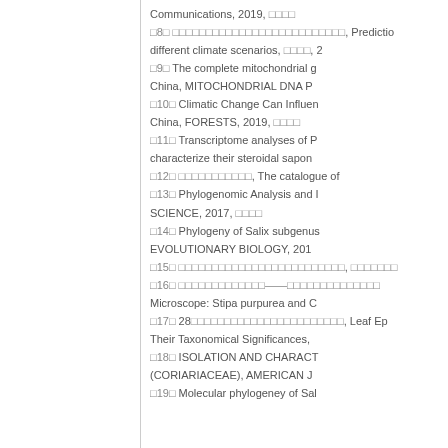Communications, 2019, □□□□
□8□ □□□□□□□□□□□□□□□□□□□□□□□□□□, Prediction different climate scenarios, □□□□, 2
□9□ The complete mitochondrial g China, MITOCHONDRIAL DNA P
□10□ Climatic Change Can Influen China, FORESTS, 2019, □□□□
□11□ Transcriptome analyses of P characterize their steroidal sapon
□12□ □□□□□□□□□□□, The catalogue of
□13□ Phylogenomic Analysis and I SCIENCE, 2017, □□□□
□14□ Phylogeny of Salix subgenus EVOLUTIONARY BIOLOGY, 201
□15□ □□□□□□□□□□□□□□□□□□□□□□□□□, □□□□□□□
□16□ □□□□□□□□□□□□□——□□□□□□□□□□□□□□ Microscope: Stipa purpurea and C
□17□ 28□□□□□□□□□□□□□□□□□□□□□□□, Leaf Ep Their Taxonomical Significances,
□18□ ISOLATION AND CHARACT (CORIARIACEAE), AMERICAN J
□19□ Molecular phylogeney of Sal